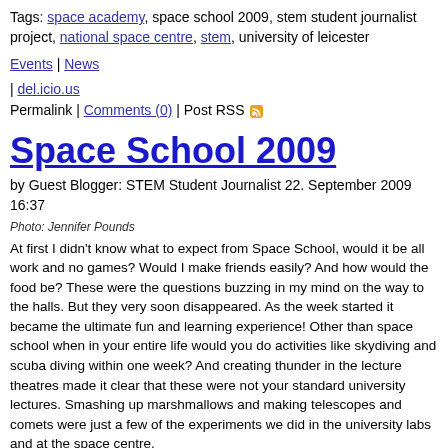Tags: space academy, space school 2009, stem student journalist project, national space centre, stem, university of leicester
Events | News
| del.icio.us
Permalink | Comments (0) | Post RSS
Space School 2009
by Guest Blogger: STEM Student Journalist 22. September 2009 16:37
Photo: Jennifer Pounds
At first I didn't know what to expect from Space School, would it be all work and no games? Would I make friends easily? And how would the food be? These were the questions buzzing in my mind on the way to the halls. But they very soon disappeared. As the week started it became the ultimate fun and learning experience! Other than space school when in your entire life would you do activities like skydiving and scuba diving within one week? And creating thunder in the lecture theatres made it clear that these were not your standard university lectures. Smashing up marshmallows and making telescopes and comets were just a few of the experiments we did in the university labs and at the space centre.